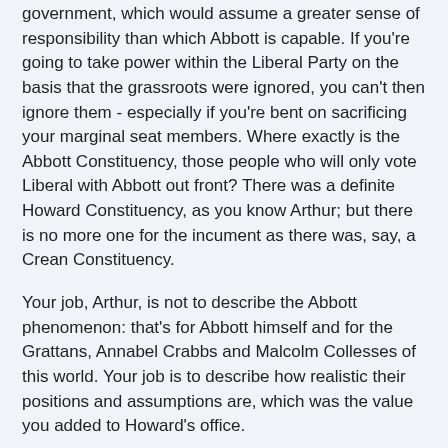government, which would assume a greater sense of responsibility than which Abbott is capable. If you're going to take power within the Liberal Party on the basis that the grassroots were ignored, you can't then ignore them - especially if you're bent on sacrificing your marginal seat members. Where exactly is the Abbott Constituency, those people who will only vote Liberal with Abbott out front? There was a definite Howard Constituency, as you know Arthur; but there is no more one for the incument as there was, say, a Crean Constituency.
Your job, Arthur, is not to describe the Abbott phenomenon: that's for Abbott himself and for the Grattans, Annabel Crabbs and Malcolm Collesses of this world. Your job is to describe how realistic their positions and assumptions are, which was the value you added to Howard's office.
The same goes for business. The ever-shrinking pool of corporate donations will follow the opinion polls and Abbott will be careful to mend fences.